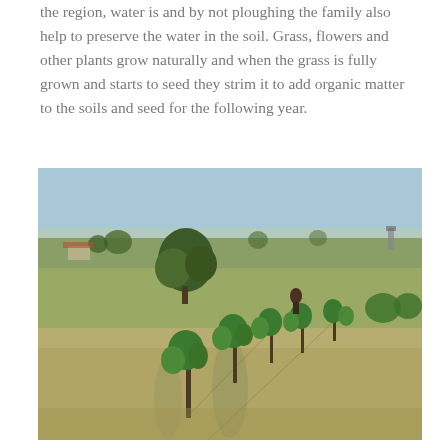the region, water is and by not ploughing the family also help to preserve the water in the soil. Grass, flowers and other plants grow naturally and when the grass is fully grown and starts to seed they strim it to add organic matter to the soils and seed for the following year.
[Figure (photo): A vineyard with rows of grapevines growing in a grassy field. A person is visible in the background walking among the vines. The landscape is flat with trees and structures on the horizon under a blue sky.]